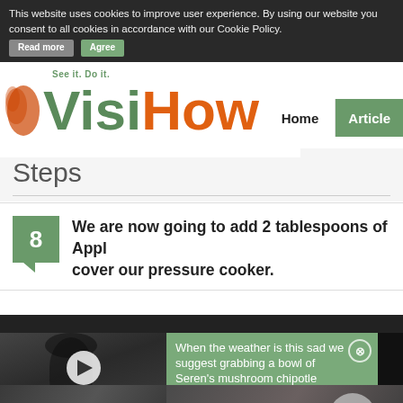[Figure (screenshot): VisiHow website screenshot showing logo with tagline 'See it. Do it.', navigation bar with Home and Articles links, cookie consent banner, Steps section heading with step 8 instruction text, and embedded video thumbnails with a green tooltip card.]
This website uses cookies to improve user experience. By using our website you consent to all cookies in accordance with our Cookie Policy. Read more | Agree
[Figure (logo): VisiHow logo with tagline 'See it. Do it.' - Visi in green, How in orange]
Steps
8 We are now going to add 2 tablespoons of Apple... cover our pressure cooker.
[Figure (screenshot): Video thumbnail showing a blurred figure with a white play button, alongside a green tooltip card reading: When the weather is this sad we suggest grabbing a bowl of Seren's mushroom chipotle pasta #Shorts]
When the weather is this sad we suggest grabbing a bowl of Seren's mushroom chipotle pasta #Shorts